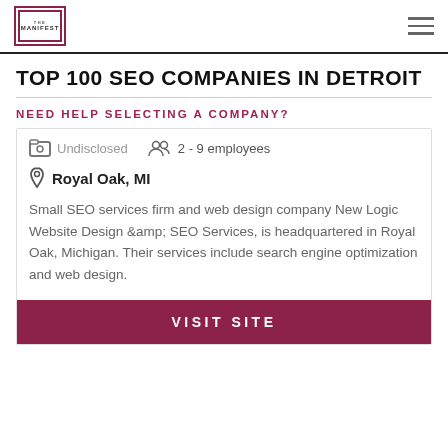THE MANIFEST
TOP 100 SEO COMPANIES IN DETROIT
NEED HELP SELECTING A COMPANY?
Undisclosed   2 - 9 employees
Royal Oak, MI
Small SEO services firm and web design company New Logic Website Design &amp; SEO Services, is headquartered in Royal Oak, Michigan. Their services include search engine optimization and web design.
VISIT SITE